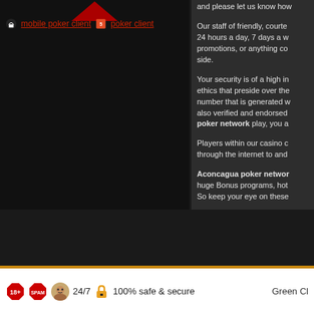mobile poker client | poker client
and please let us know how
Our staff of friendly, courte... 24 hours a day, 7 days a w... promotions, or anything co... side.
Your security is of a high i... ethics that preside over the... number that is generated w... also verified and endorsed ... poker network play, you a...
Players within our casino c... through the internet to and...
Aconcagua poker networ... huge Bonus programs, hot... So keep your eye on these...
18+ SPAM 24/7 100% safe & secure Green Cl...